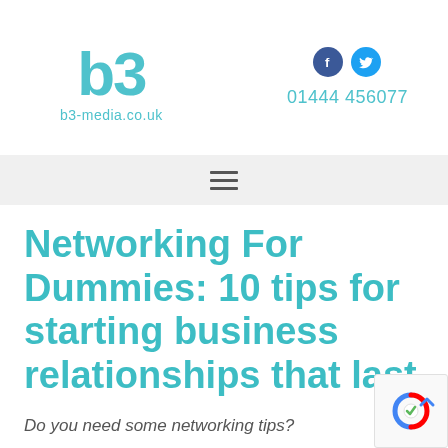[Figure (logo): b3-media.co.uk logo with large teal 'b3' letters and URL below]
[Figure (infographic): Social media icons: Facebook (dark blue circle) and Twitter (light blue circle), plus phone number 01444 456077]
[Figure (infographic): Navigation hamburger menu icon (three horizontal lines) on a light grey background bar]
Networking For Dummies: 10 tips for starting business relationships that last
Do you need some networking tips?